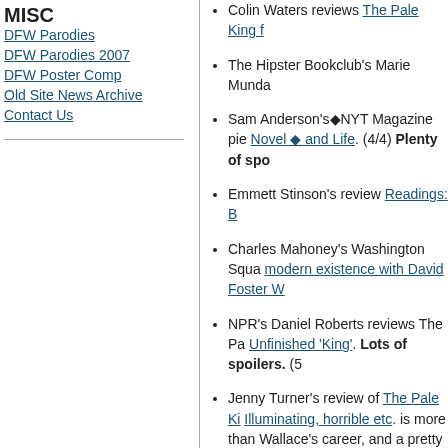MISC
DFW Parodies
DFW Parodies 2007
DFW Poster Comp
Old Site News Archive
Contact Us
Colin Waters reviews The Pale King f
The Hipster Bookclub's Marie Munda
Sam Anderson's■NYT Magazine pie Novel ■ and Life. (4/4) Plenty of spo
Emmett Stinson's review Readings: B
Charles Mahoney's Washington Squa modern existence with David Foster W
NPR's Daniel Roberts reviews The Pa Unfinished 'King'. Lots of spoilers. (5
Jenny Turner's review of The Pale Ki Illuminating, horrible etc. is more than Wallace's career, and a pretty good o 3/4 of the way through. (6/4/11)
Jeff Turrentine's review for The Wash King■: Plot takes back seat to mood
Michael Hingston's review for Straigh